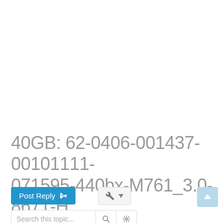40GB: 62-0406-001437-00101111-071595-440bx-M761_3.0-8671-H
[Figure (screenshot): Forum page bottom toolbar with Post Reply button (blue), tools button with wrench icon and dropdown caret, a scroll-to-top button (light blue with up arrow), and a search bar with magnifier and gear icons.]